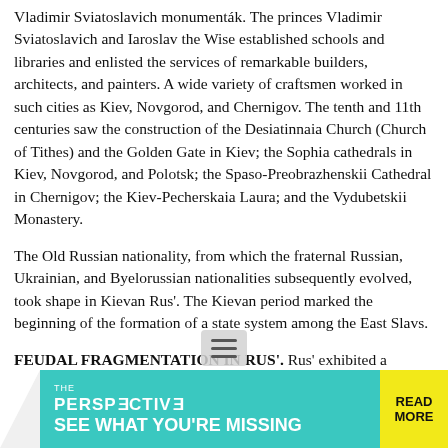Vladimir Sviatoslavich monumenták. The princes Vladimir Sviatoslavich and Iaroslav the Wise established schools and libraries and enlisted the services of remarkable builders, architects, and painters. A wide variety of craftsmen worked in such cities as Kiev, Novgorod, and Chernigov. The tenth and 11th centuries saw the construction of the Desiatinnaia Church (Church of Tithes) and the Golden Gate in Kiev; the Sophia cathedrals in Kiev, Novgorod, and Polotsk; the Spaso-Preobrazhenskii Cathedral in Chernigov; the Kiev-Pecherskaia Laura; and the Vydubetskii Monastery.
The Old Russian nationality, from which the fraternal Russian, Ukrainian, and Byelorussian nationalities subsequently evolved, took shape in Kievan Rus'. The Kievan period marked the beginning of the formation of a state system among the East Slavs.
FEUDAL FRAGMENTATION IN RUS'. Rus' exhibited a marked tendency toward feudal dissociation as early as the second half of the 11th century, after the death of Iaroslav the Wise in 1054. The growing economic self-sufficiency of the cities that were the capitals of principalities, notably the cities of Novgorod, Chernigov, and Polotsk, was accompanied by a struggle of the Russian princes for political independence from Kiev. At an assembly of the princes held in the city of Liubech in 1097, it was decided that princes should inherit the lands of their fathers and that their holdings should be
[Figure (other): Advertisement banner: 'THE PERSPECTIVE — SEE WHAT YOU'RE MISSING' with teal background and yellow 'READ MORE' button]